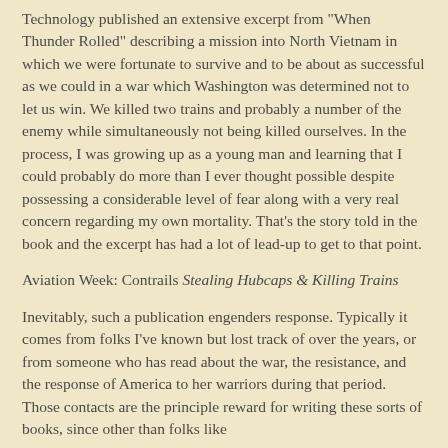Technology published an extensive excerpt from "When Thunder Rolled" describing a mission into North Vietnam in which we were fortunate to survive and to be about as successful as we could in a war which Washington was determined not to let us win. We killed two trains and probably a number of the enemy while simultaneously not being killed ourselves. In the process, I was growing up as a young man and learning that I could probably do more than I ever thought possible despite possessing a considerable level of fear along with a very real concern regarding my own mortality. That's the story told in the book and the excerpt has had a lot of lead-up to get to that point.
Aviation Week: Contrails Stealing Hubcaps & Killing Trains
Inevitably, such a publication engenders response. Typically it comes from folks I've known but lost track of over the years, or from someone who has read about the war, the resistance, and the response of America to her warriors during that period. Those contacts are the principle reward for writing these sorts of books, since other than folks like